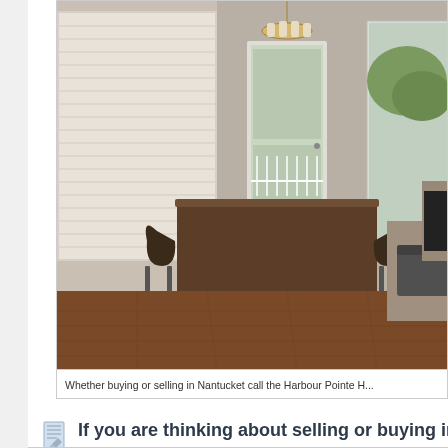[Figure (photo): Interior photo of a dining room with a dark wood rectangular dining table, modern curved wooden chairs, hardwood floors, large windows with white shutters letting in natural light, a chandelier overhead, sliding glass door to an outdoor deck area, and a glimpse of a living area to the right.]
Whether buying or selling in Nantucket call the Harbour Pointe H...
If you are thinking about selling or buying in Harbour Pointe in Mukilteo, Washington call the Team today at 206-445-8034 for a free market...